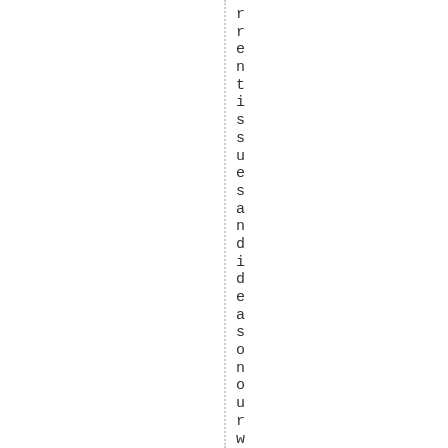rrentissuesandideasasonourwebsit